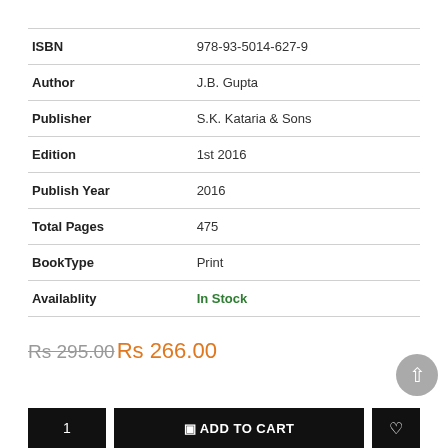| Field | Value |
| --- | --- |
| ISBN | 978-93-5014-627-9 |
| Author | J.B. Gupta |
| Publisher | S.K. Kataria & Sons |
| Edition | 1st 2016 |
| Publish Year | 2016 |
| Total Pages | 475 |
| BookType | Print |
| Availablity | In Stock |
Rs 295.00Rs 266.00